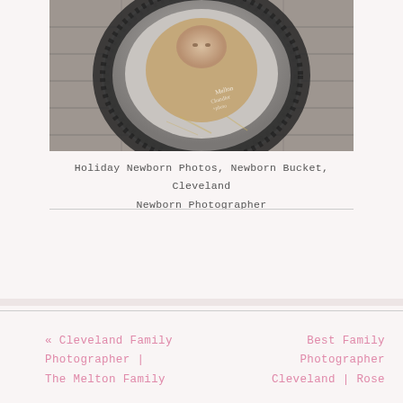[Figure (photo): Newborn baby swaddled in a burlap/knit wrap, nestled inside a metal bucket decorated with dark curly wool/yarn, photographed from above on a wooden surface. Photographer watermark visible on the bucket.]
Holiday Newborn Photos, Newborn Bucket, Cleveland Newborn Photographer
« Cleveland Family Photographer | The Melton Family
Best Family Photographer Cleveland | Rose